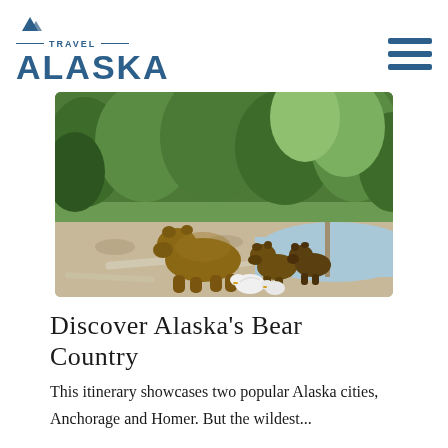[Figure (logo): Travel Alaska logo with mountain icon, horizontal lines, and large blue ALASKA text]
[Figure (photo): Brown bears (a large adult and two cubs) walking along a rocky riverbank with green trees and brush in the background, and white birds in the foreground]
Discover Alaska's Bear Country
This itinerary showcases two popular Alaska cities, Anchorage and Homer. But the wildest...